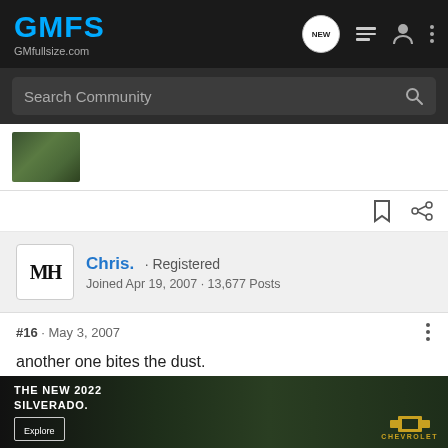GMFS GMfullsize.com
Search Community
[Figure (photo): User avatar photo thumbnail showing outdoor/nature scene]
Chris. · Registered
Joined Apr 19, 2007 · 13,677 Posts
#16 · May 3, 2007
another one bites the dust.
[Figure (photo): Advertisement for The New 2022 Silverado by Chevrolet with Explore button]